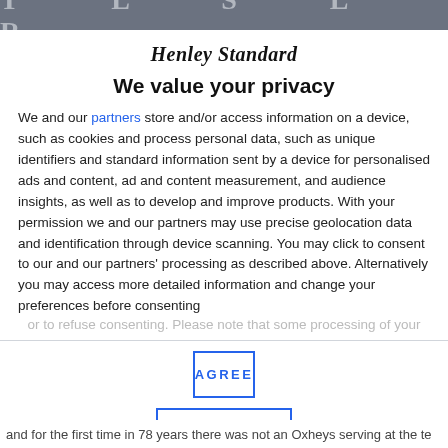The Henley Standard (partial/blurred header)
Henley Standard
We value your privacy
We and our partners store and/or access information on a device, such as cookies and process personal data, such as unique identifiers and standard information sent by a device for personalised ads and content, ad and content measurement, and audience insights, as well as to develop and improve products. With your permission we and our partners may use precise geolocation data and identification through device scanning. You may click to consent to our and our partners' processing as described above. Alternatively you may access more detailed information and change your preferences before consenting or to refuse consenting. Please note that some processing of your…
AGREE
MORE OPTIONS
and for the first time in 78 years there was not an Oxheys serving at the te